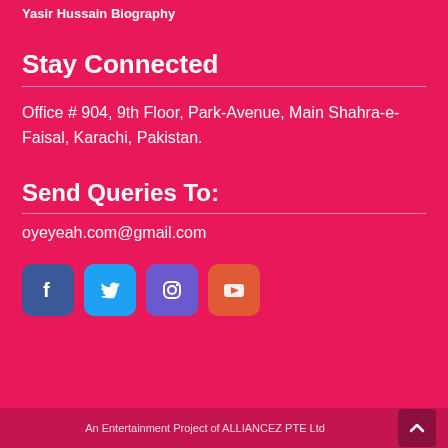Yasir Hussain Biography
Stay Connected
Office # 904, 9th Floor, Park-Avenue, Main Shahra-e-Faisal, Karachi, Pakistan.
Send Queries To:
oyeyeah.com@gmail.com
[Figure (infographic): Social media icons: Facebook (blue rounded square), Twitter (light blue rounded square), Instagram (purple rounded square), YouTube (orange-red rounded square)]
An Entertainment Project of ALLIANCEZ PTE Ltd